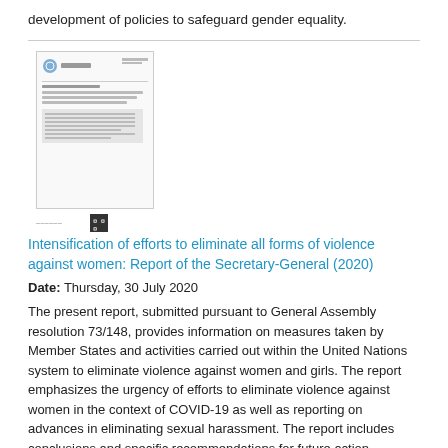development of policies to safeguard gender equality.
[Figure (screenshot): Thumbnail image of a UN document page with header, title lines, and a text block section, with a small footer bar showing text and a QR code.]
Intensification of efforts to eliminate all forms of violence against women: Report of the Secretary-General (2020)
Date: Thursday, 30 July 2020
The present report, submitted pursuant to General Assembly resolution 73/148, provides information on measures taken by Member States and activities carried out within the United Nations system to eliminate violence against women and girls. The report emphasizes the urgency of efforts to eliminate violence against women in the context of COVID-19 as well as reporting on advances in eliminating sexual harassment. The report includes conclusions and specific recommendations for future action.